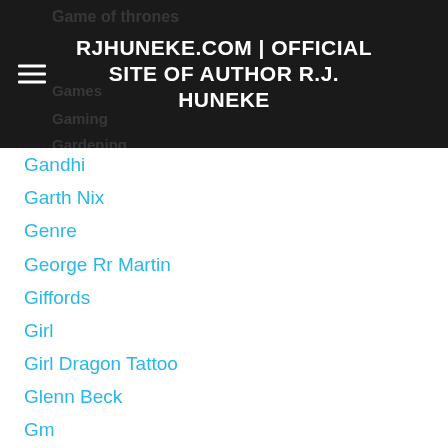RJHUNEKE.COM | OFFICIAL SITE OF AUTHOR R.J. HUNEKE
Gandhi
Garth Nix
Genre
George Rr Martin
Giffords
Girl
Girl Dragon Tattoo
Glenn Beck
Gm
Goodreads
Good Reads
Goodreads Giveaway
Goodreads Giveaway Of Cyberwar
Goodreads Huneke
Google
Got